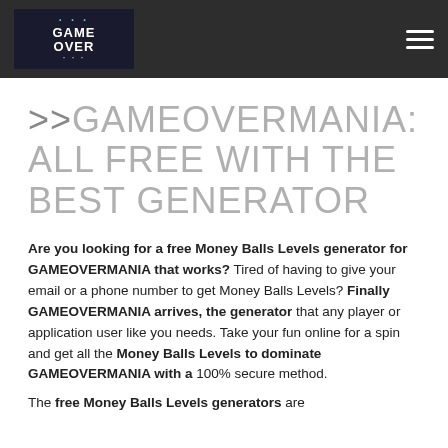GAME OVER logo and hamburger menu
>>GAMEOVERMANIA: ALL FREE WITH THE BEST GENERATOR
Are you looking for a free Money Balls Levels generator for GAMEOVERMANIA that works? Tired of having to give your email or a phone number to get Money Balls Levels? Finally GAMEOVERMANIA arrives, the generator that any player or application user like you needs. Take your fun online for a spin and get all the Money Balls Levels to dominate GAMEOVERMANIA with a 100% secure method.
The free Money Balls Levels generators are